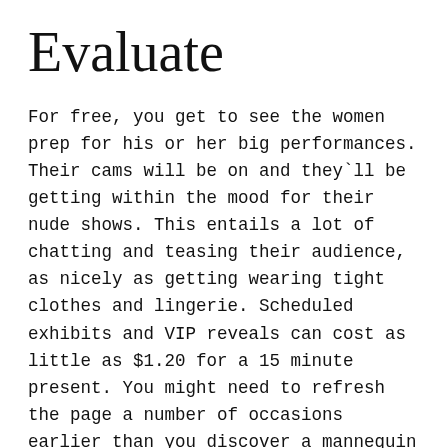Evaluate
For free, you get to see the women prep for his or her big performances. Their cams will be on and they`ll be getting within the mood for their nude shows. This entails a lot of chatting and teasing their audience, as nicely as getting wearing tight clothes and lingerie. Scheduled exhibits and VIP reveals can cost as little as $1.20 for a 15 minute present. You might need to refresh the page a number of occasions earlier than you discover a mannequin to watch, at the value you need to pay. Adding cam2cam and 2-way audio entails an extra payment.